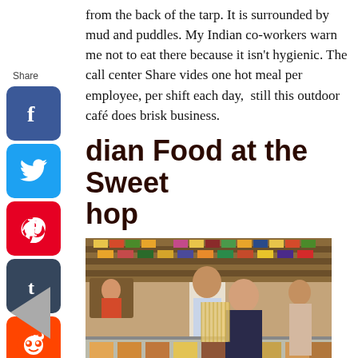from the back of the tarp. It is surrounded by mud and puddles. My Indian co-workers warn me not to eat there because it isn't hygienic. The call center Share vides one hot meal per employee, per shift each day, still this outdoor café does brisk business.
dian Food at the Sweet hop
[Figure (photo): A woman in a dark outfit stands at a glass display case in an Indian sweet shop, smiling at the camera. A male shopkeeper in a white shirt stands behind the counter. Shelves of packaged goods are visible in the background. Various sweets and snacks are displayed in the glass case.]